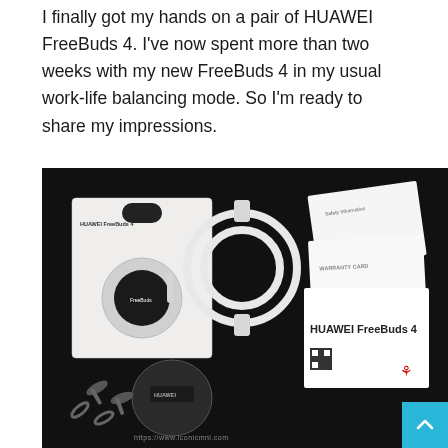I finally got my hands on a pair of HUAWEI FreeBuds 4. I've now spent more than two weeks with my new FreeBuds 4 in my usual work-life balancing mode. So I'm ready to share my impressions.
[Figure (photo): Flat lay photo on black background showing HUAWEI FreeBuds 4 unboxing contents: the retail box (HUAWEI FreeBuds 4), a coiled white USB-C cable, a warranty card, a safety information booklet, the charging case, and ear tips, along with the HUAWEI logo. Watermark at the bottom: https://www.iconicmnl.com]